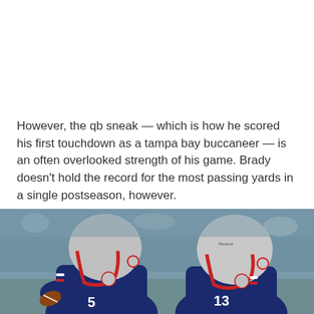However, the qb sneak — which is how he scored his first touchdown as a tampa bay buccaneer — is an often overlooked strength of his game. Brady doesn't hold the record for the most passing yards in a single postseason, however.
[Figure (photo): Two New England Patriots quarterbacks in navy blue uniforms and silver/red helmets on a football field, stadium seating visible in background.]